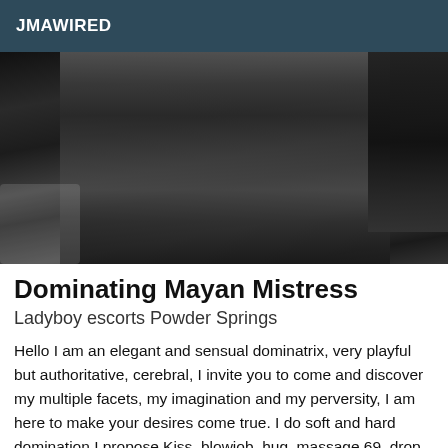JMAWIRED
[Figure (photo): A person in dark clothing lying on a black leather couch, with another person in black latex/leather attire standing over them.]
Dominating Mayan Mistress
Ladyboy escorts Powder Springs
Hello I am an elegant and sensual dominatrix, very playful but authoritative, cerebral, I invite you to come and discover my multiple facets, my imagination and my perversity, I am here to make your desires come true. I do soft and hard domination I propose Kiss, blowjob, hug, massage 69, drop, humiliation, femdom spit, insult, stotic hand, fist...